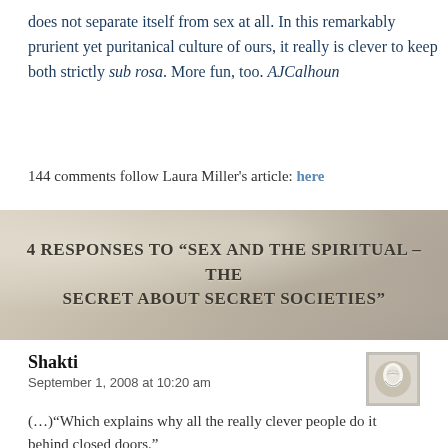does not separate itself from sex at all. In this remarkably prurient yet puritanical culture of ours, it really is clever to keep both strictly sub rosa. More fun, too. AJCalhoun
144 comments follow Laura Miller's article: here
4 RESPONSES TO “SEX AND THE SPIRITUAL – THE SECRET ABOUT SECRET SOCIETIES”
Shakti
September 1, 2008 at 10:20 am
(…)“Which explains why all the really clever people do it behind closed doors.”
Makes sense, lol. :-O